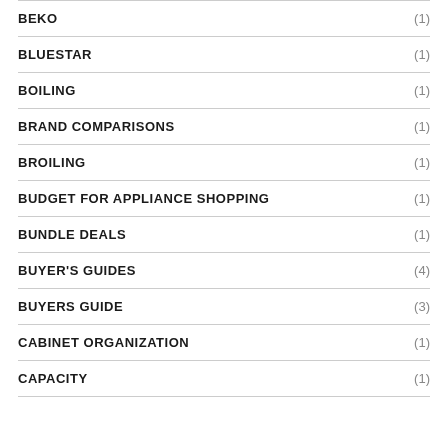BEKO (1)
BLUESTAR (1)
BOILING (1)
BRAND COMPARISONS (1)
BROILING (1)
BUDGET FOR APPLIANCE SHOPPING (1)
BUNDLE DEALS (1)
BUYER'S GUIDES (4)
BUYERS GUIDE (3)
CABINET ORGANIZATION (1)
CAPACITY (1)